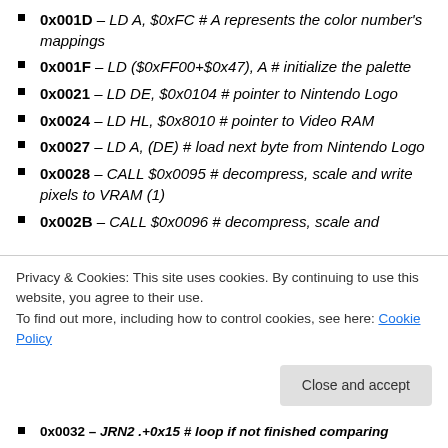0x001D – LD A, $0xFC # A represents the color number's mappings
0x001F – LD ($0xFF00+$0x47), A # initialize the palette
0x0021 – LD DE, $0x0104 # pointer to Nintendo Logo
0x0024 – LD HL, $0x8010 # pointer to Video RAM
0x0027 – LD A, (DE) # load next byte from Nintendo Logo
0x0028 – CALL $0x0095 # decompress, scale and write pixels to VRAM (1)
0x002B – CALL $0x0096 # decompress, scale and
Privacy & Cookies: This site uses cookies. By continuing to use this website, you agree to their use.
To find out more, including how to control cookies, see here: Cookie Policy
0x0032 – JRN2 .+0x15 # loop if not finished comparing